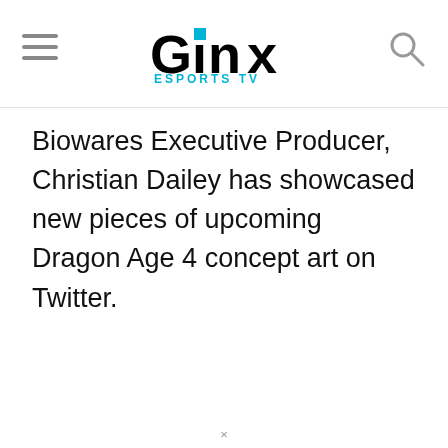GINX ESPORTS TV
Biowares Executive Producer, Christian Dailey has showcased new pieces of upcoming Dragon Age 4 concept art on Twitter.
×